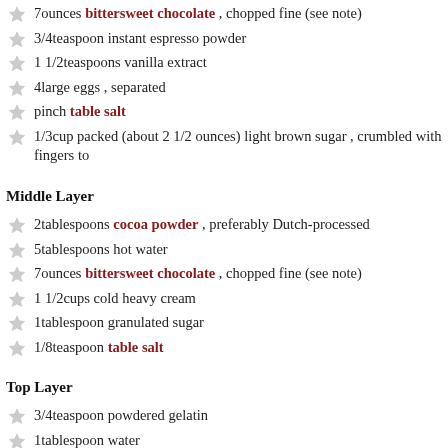7ounces bittersweet chocolate , chopped fine (see note)
3/4teaspoon instant espresso powder
1 1/2teaspoons vanilla extract
4large eggs , separated
pinch table salt
1/3cup packed (about 2 1/2 ounces) light brown sugar , crumbled with fingers to
Middle Layer
2tablespoons cocoa powder , preferably Dutch-processed
5tablespoons hot water
7ounces bittersweet chocolate , chopped fine (see note)
1 1/2cups cold heavy cream
1tablespoon granulated sugar
1/8teaspoon table salt
Top Layer
3/4teaspoon powdered gelatin
1tablespoon water